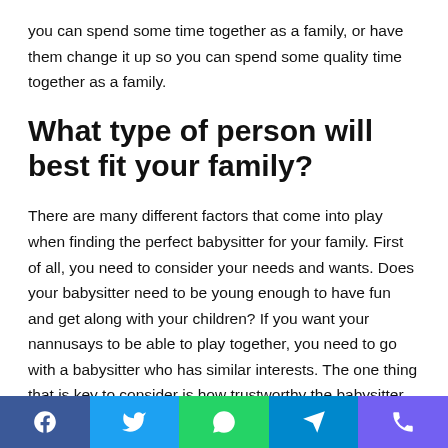you can spend some time together as a family, or have them change it up so you can spend some quality time together as a family.
What type of person will best fit your family?
There are many different factors that come into play when finding the perfect babysitter for your family. First of all, you need to consider your needs and wants. Does your babysitter need to be young enough to have fun and get along with your children? If you want your nannusays to be able to play together, you need to go with a babysitter who has similar interests. The one thing that is key to consider is how trustworthy the babysitter will be. Take the time to ask the